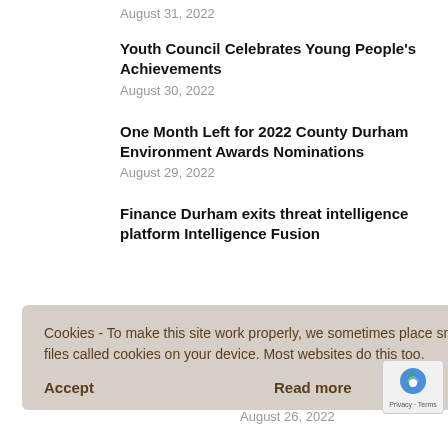August 31, 2022
Youth Council Celebrates Young People's Achievements
August 30, 2022
One Month Left for 2022 County Durham Environment Awards Nominations
August 29, 2022
Finance Durham exits threat intelligence platform Intelligence Fusion
[Figure (screenshot): Cookie consent overlay with text and Accept/Read more buttons]
100 New Electric Vehicle Charging Statio…
August 26, 2022